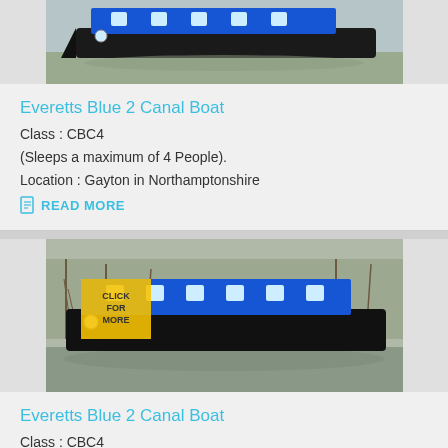[Figure (photo): Blue narrow canal boat on muddy canal water, top portion visible]
Everetts Blue 2 Canal Boat
Class : CBC4
(Sleeps a maximum of 4 People).
Location : Gayton in Northamptonshire
READ MORE
[Figure (photo): Blue narrow canal boat on canal with trees in background, 'CLICK FOR MORE' yellow badge overlay]
Everetts Blue 2 Canal Boat
Class : CBC4
(Sleeps a maximum of 4 People).
Location : Gayton in Northamptonshire
READ MORE